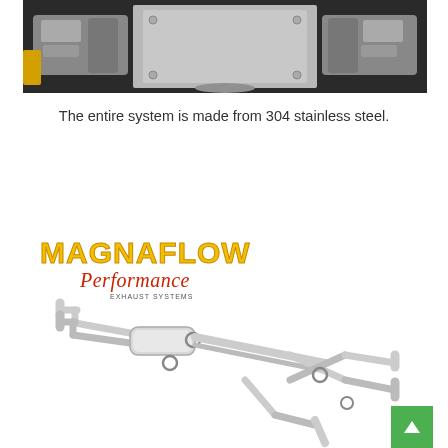[Figure (photo): Underside view of a vehicle showing exhaust system components, metallic parts visible from below]
The entire system is made from 304 stainless steel.
[Figure (photo): MagnaFlow Performance exhaust system product photo showing stainless steel pipes and muffler assembly with logo]